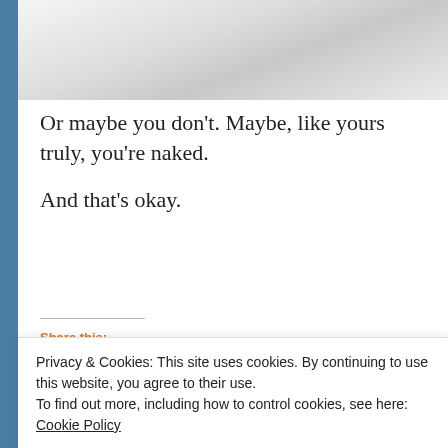[Figure (photo): Partial view of white/grey fabric or clothing item at top of page]
Or maybe you don't. Maybe, like yours truly, you're naked.
And that's okay.
Share this:
[Figure (infographic): Row of circular social share buttons: Facebook (blue), Twitter (blue), more options (grey), email (blue), another (light blue), another (dark navy), Pinterest (red)]
Privacy & Cookies: This site uses cookies. By continuing to use this website, you agree to their use.
To find out more, including how to control cookies, see here: Cookie Policy
Close and accept